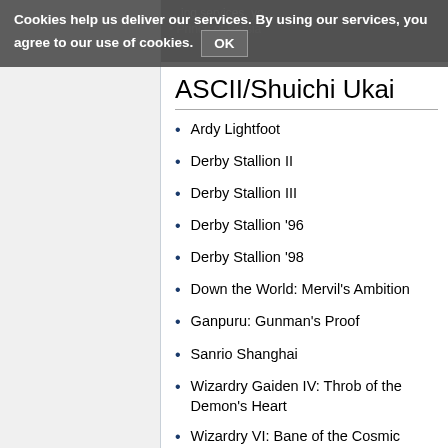Cookies help us deliver our services. By using our services, you agree to our use of cookies. OK
Prince of Persia
ASCII/Shuichi Ukai
Ardy Lightfoot
Derby Stallion II
Derby Stallion III
Derby Stallion '96
Derby Stallion '98
Down the World: Mervil's Ambition
Ganpuru: Gunman's Proof
Sanrio Shanghai
Wizardry Gaiden IV: Throb of the Demon's Heart
Wizardry VI: Bane of the Cosmic Forge
ASCII/Yoshinori Hirahara, Kouji Yamada